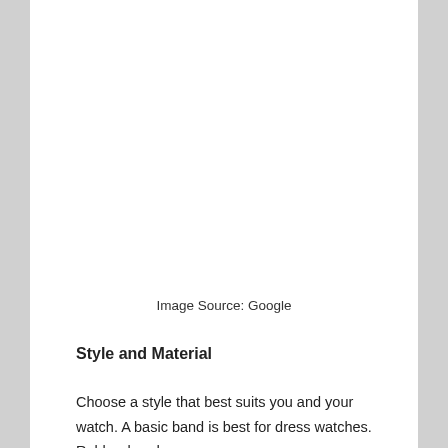Image Source: Google
Style and Material
Choose a style that best suits you and your watch. A basic band is best for dress watches. Rubber bands